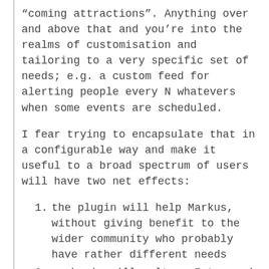“coming attractions”. Anything over and above that and you’re into the realms of customisation and tailoring to a very specific set of needs; e.g. a custom feed for alerting people every N whatevers when some events are scheduled.
I fear trying to encapsulate that in a configurable way and make it useful to a broad spectrum of users will have two net effects:
the plugin will help Markus, without giving benefit to the wider community who probably have rather different needs
my brain will melt as I try and make it all work. And I’m quite attached to my brain ;-)
I could be wrong, and it might actually be